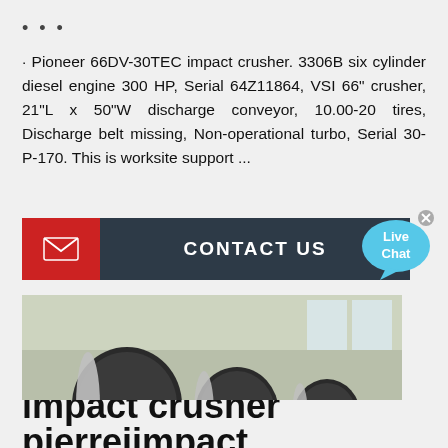...
· Pioneer 66DV-30TEC impact crusher. 3306B six cylinder diesel engine 300 HP, Serial 64Z11864, VSI 66" crusher, 21"L x 50"W discharge conveyor, 10.00-20 tires, Discharge belt missing, Non-operational turbo, Serial 30-P-170. This is worksite support ...
[Figure (other): Contact Us button with red envelope icon on left and dark grey label reading CONTACT US]
[Figure (other): Live Chat speech bubble widget in light blue]
[Figure (photo): Industrial photo showing large cylindrical magnetic separators on orange frames inside a factory warehouse]
impact crusher pierreiimpact